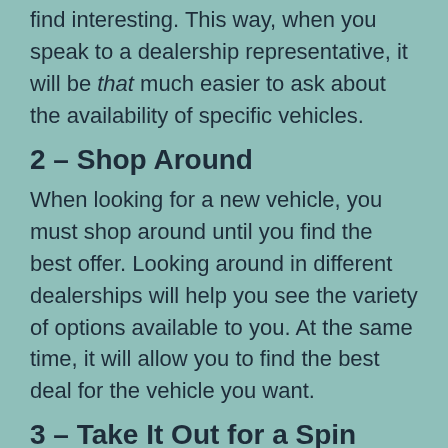find interesting. This way, when you speak to a dealership representative, it will be that much easier to ask about the availability of specific vehicles.
2 – Shop Around
When looking for a new vehicle, you must shop around until you find the best offer. Looking around in different dealerships will help you see the variety of options available to you. At the same time, it will allow you to find the best deal for the vehicle you want.
3 – Take It Out for a Spin